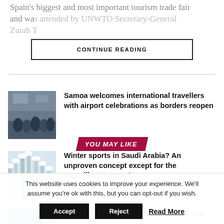Spain's biggest and most important tourism trade fair and was attended by UNWTO Secretary-General Zurab P...
CONTINUE READING
YOU MAY LIKE
[Figure (photo): Crowd of people at an indoor venue]
Samoa welcomes international travellers with airport celebrations as borders reopen
[Figure (photo): Person skiing down a snowy slope]
Winter sports in Saudi Arabia? An unproven concept except for the surveillance aspect
[Figure (photo): Blue abstract image]
Why does your startup need an MVP and
This website uses cookies to improve your experience. We'll assume you're ok with this, but you can opt-out if you wish.
Accept  Reject  Read More